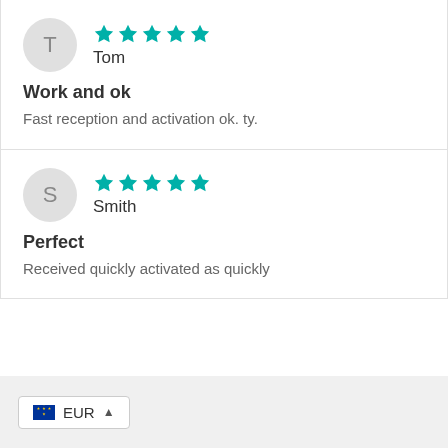T
★★★★★ Tom
Work and ok
Fast reception and activation ok. ty.
S
★★★★★ Smith
Perfect
Received quickly activated as quickly
EUR ▲